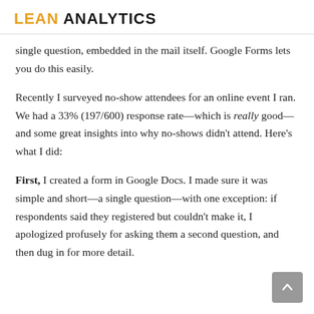LEAN ANALYTICS
single question, embedded in the mail itself. Google Forms lets you do this easily.
Recently I surveyed no-show attendees for an online event I ran. We had a 33% (197/600) response rate—which is really good—and some great insights into why no-shows didn't attend. Here's what I did:
First, I created a form in Google Docs. I made sure it was simple and short—a single question—with one exception: if respondents said they registered but couldn't make it, I apologized profusely for asking them a second question, and then dug in for more detail.